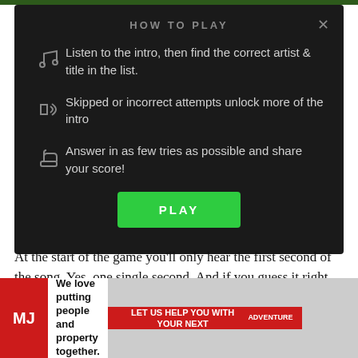HOW TO PLAY
Listen to the intro, then find the correct artist & title in the list.
Skipped or incorrect attempts unlock more of the intro
Answer in as few tries as possible and share your score!
PLAY
At the start of the game you'll only hear the first second of the song. Yes, one single second. And if you guess it right, you're crowned a musical virtuoso (take a bow).
[Figure (infographic): Advertisement banner: MJ logo, 'We love putting people and property together.' text, 'LET US HELP YOU WITH YOUR NEXT ...' call to action, with background photo]